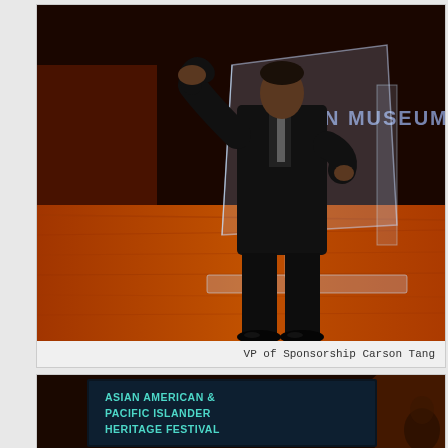[Figure (photo): A man in a dark suit speaking at a clear acrylic podium/lectern at the Rubin Museum of Art. Text 'RUBIN MUSEUM OF A' visible in the background. The speaker is gesturing with his hands. Warm orange-toned wooden floor visible.]
VP of Sponsorship Carson Tang
[Figure (photo): A projection screen showing text 'ASIAN AMERICAN & PACIFIC ISLANDER HERITAGE FESTIVAL' in teal/cyan color on a dark background. Dark auditorium setting visible.]